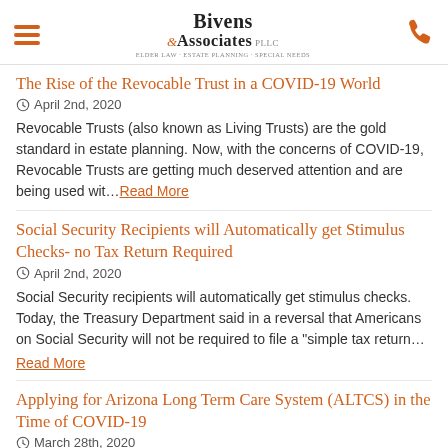Bivens & Associates PLLC — Elder Law, Estate Planning, Special Needs
The Rise of the Revocable Trust in a COVID-19 World
April 2nd, 2020
Revocable Trusts (also known as Living Trusts) are the gold standard in estate planning. Now, with the concerns of COVID-19, Revocable Trusts are getting much deserved attention and are being used wit… Read More
Social Security Recipients will Automatically get Stimulus Checks- no Tax Return Required
April 2nd, 2020
Social Security recipients will automatically get stimulus checks. Today, the Treasury Department said in a reversal that Americans on Social Security will not be required to file a "simple tax return… Read More
Applying for Arizona Long Term Care System (ALTCS) in the Time of COVID-19
March 28th, 2020
First, what is ALTCS?  Arizona Long Term Care System ("ALTCS") is